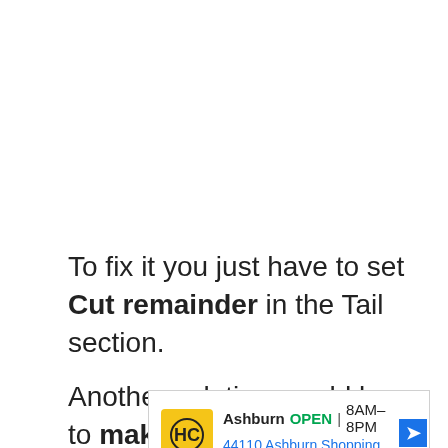To fix it you just have to set Cut remainder in the Tail section.
Another solution would be to make
[Figure (screenshot): Advertisement banner showing HC (Honest-1 Auto Care) logo, Ashburn location OPEN 8AM-8PM, address 44110 Ashburn Shopping P..., with navigation arrow icon, play and close controls]